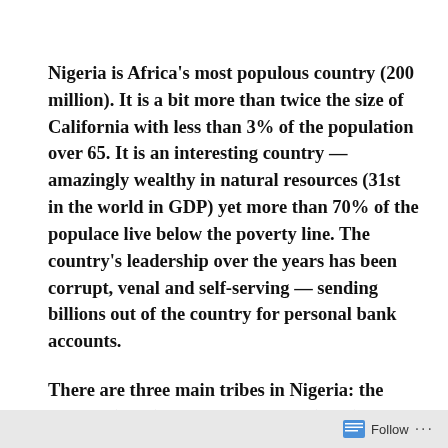Nigeria is Africa's most populous country (200 million).  It is a bit more than twice the size of California with less than 3% of the population over 65.  It is an interesting country — amazingly wealthy in natural resources (31st in the world in GDP) yet more than 70% of the populace live below the poverty line.  The country's leadership over the years has been corrupt, venal and self-serving — sending billions out of the country for personal bank accounts.
There are three main tribes in Nigeria:  the Yoruba (21%), the Hausa/Fulani (25%) and the Ibo (Igbo)
Follow